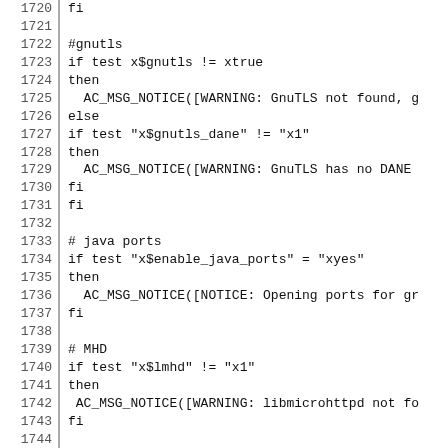Code listing lines 1720-1749, shell/autoconf script
1720  fi
1721  (blank)
1722  #gnutls
1723  if test x$gnutls != xtrue
1724  then
1725    AC_MSG_NOTICE([WARNING: GnuTLS not found, g
1726  else
1727  if test "x$gnutls_dane" != "x1"
1728  then
1729    AC_MSG_NOTICE([WARNING: GnuTLS has no DANE
1730  fi
1731  fi
1732  (blank)
1733  # java ports
1734  if test "x$enable_java_ports" = "xyes"
1735  then
1736    AC_MSG_NOTICE([NOTICE: Opening ports for gr
1737  fi
1738  (blank)
1739  # MHD
1740  if test "x$lmhd" != "x1"
1741  then
1742   AC_MSG_NOTICE([WARNING: libmicrohttpd not fo
1743  fi
1744  (blank)
1745  # conversation
1746  if test "x$conversation_backend" = "xnone"
1747  then
1748    if test "x$pulse" != "x1"
1749    then